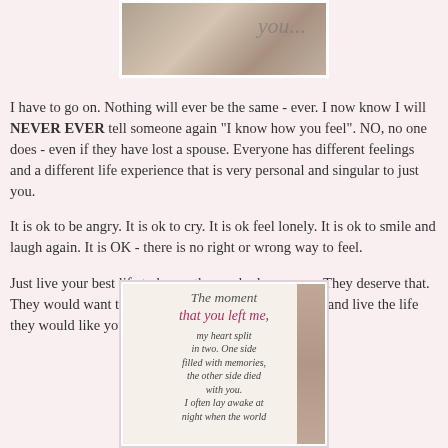[Figure (photo): Partial photo at top showing a wooden sign with cursive text, cropped to show only the bottom portion]
I have to go on.  Nothing will ever be the same - ever.  I now know I will NEVER EVER tell someone again "I know how you feel".  NO, no one does - even if they have lost a spouse.  Everyone has different feelings and a different life experience that is very personal and singular to just you.
It is ok to be angry.  It is ok to cry.  It is ok feel lonely.  It is ok to smile and laugh again.  It is OK - there is no right or wrong way to feel.
Just live your best life to honor those who have gone.  They deserve that.  They would want that.  Be the person they would want and live the life they would like you to have.
[Figure (photo): Photo of a decorative stone or plaque with text reading: 'The moment that you left me, my heart split in two. One side filled with memories, the other side died with you. I often lay awake at night when the world']